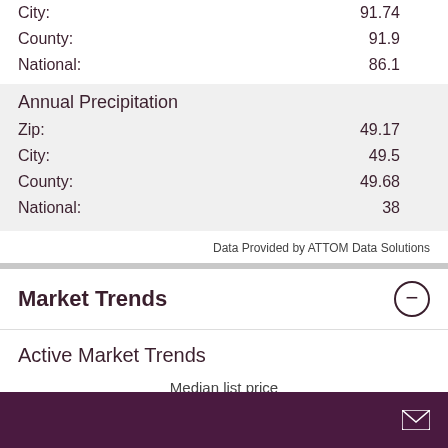City: 91.74
County: 91.9
National: 86.1
Annual Precipitation
Zip: 49.17
City: 49.5
County: 49.68
National: 38
Data Provided by ATTOM Data Solutions
Market Trends
Active Market Trends
Median list price
$549,900